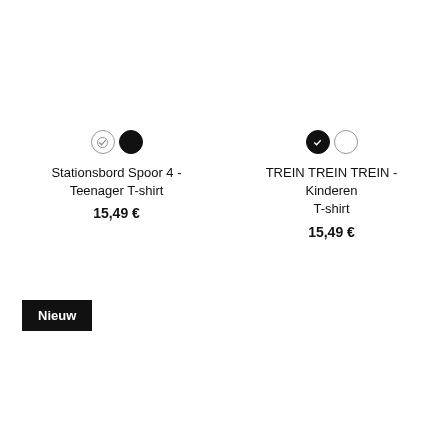Stationsbord Spoor 4 - Teenager T-shirt
15,49 €
TREIN TREIN TREIN - Kinderen T-shirt
15,49 €
Nieuw